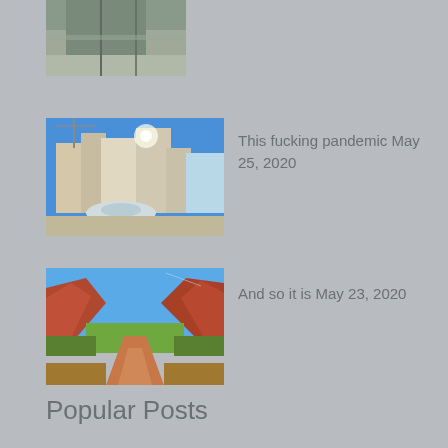[Figure (photo): Partial view of an empty outdoor plaza or street area, cropped at top]
[Figure (photo): Las Vegas strip casino area with fountain, blue sky, construction cranes in background]
This fucking pandemic May 25, 2020
[Figure (photo): Desert canyon road with red rock formations and green vegetation under blue sky, likely Zion National Park]
And so it is May 23, 2020
Popular Posts